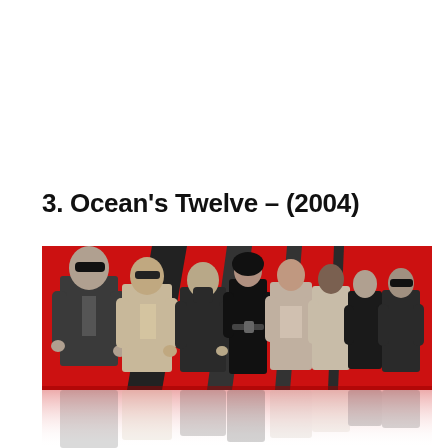3. Ocean's Twelve – (2004)
[Figure (photo): Ocean's Twelve (2004) movie promotional image showing the cast ensemble standing in a line against a red background with black geometric shapes. Characters are dressed in stylish suits and outfits, rendered in black and white/grayscale against the red backdrop.]
[Figure (photo): Reflection of the Ocean's Twelve cast image, faded and mirrored below the main image.]